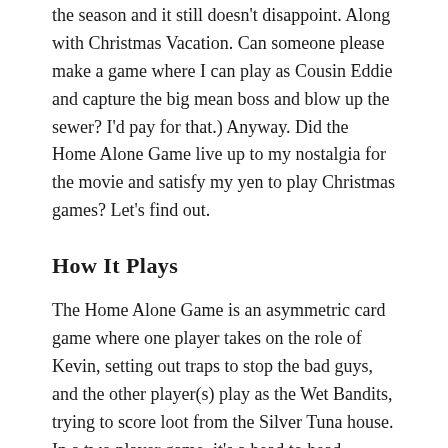the season and it still doesn't disappoint. Along with Christmas Vacation. Can someone please make a game where I can play as Cousin Eddie and capture the big mean boss and blow up the sewer? I'd pay for that.) Anyway. Did the Home Alone Game live up to my nostalgia for the movie and satisfy my yen to play Christmas games? Let's find out.
How It Plays
The Home Alone Game is an asymmetric card game where one player takes on the role of Kevin, setting out traps to stop the bad guys, and the other player(s) play as the Wet Bandits, trying to score loot from the Silver Tuna house. In a two player game, it's a head to head matchup, but with three or four, one player plays as Kevin and the others play as a team against him.